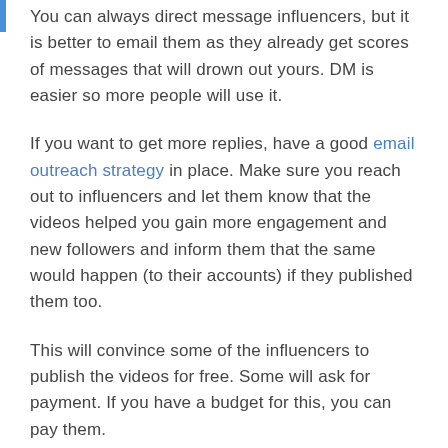You can always direct message influencers, but it is better to email them as they already get scores of messages that will drown out yours. DM is easier so more people will use it.
If you want to get more replies, have a good email outreach strategy in place. Make sure you reach out to influencers and let them know that the videos helped you gain more engagement and new followers and inform them that the same would happen (to their accounts) if they published them too.
This will convince some of the influencers to publish the videos for free. Some will ask for payment. If you have a budget for this, you can pay them.
Make sure you get the influencer to tag your account handle in the caption. This will help you attract new